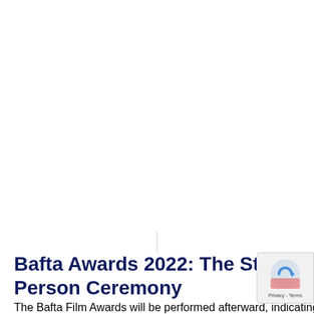[Figure (other): Large white blank area occupying the upper portion of the page, likely an image placeholder or missing image]
Bafta Awards 2022: The Stars Are Getting Ready For The In-Person Ceremony
The Bafta Film Awards will be performed afterward, indicating a